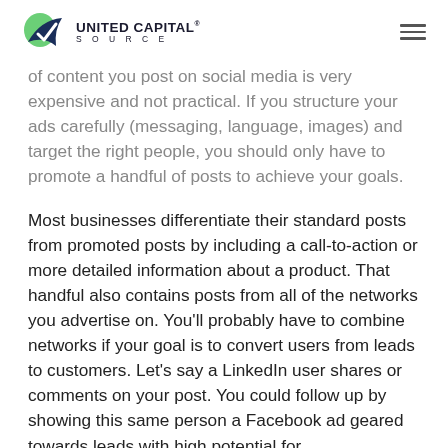United Capital Source
of content you post on social media is very expensive and not practical. If you structure your ads carefully (messaging, language, images) and target the right people, you should only have to promote a handful of posts to achieve your goals.
Most businesses differentiate their standard posts from promoted posts by including a call-to-action or more detailed information about a product. That handful also contains posts from all of the networks you advertise on. You’ll probably have to combine networks if your goal is to convert users from leads to customers. Let’s say a LinkedIn user shares or comments on your post. You could follow up by showing this same person a Facebook ad geared towards leads with high potential for